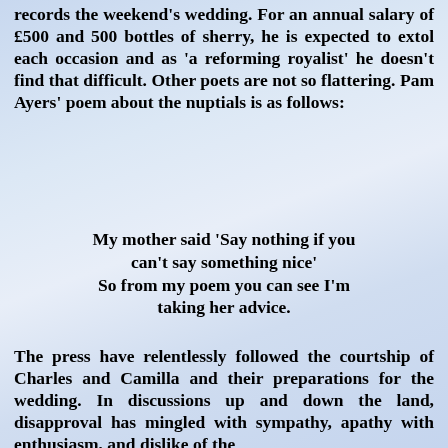records the weekend's wedding. For an annual salary of £500 and 500 bottles of sherry, he is expected to extol each occasion and as 'a reforming royalist' he doesn't find that difficult. Other poets are not so flattering. Pam Ayers' poem about the nuptials is as follows:
My mother said 'Say nothing if you can't say something nice' So from my poem you can see I'm taking her advice.
The press have relentlessly followed the courtship of Charles and Camilla and their preparations for the wedding. In discussions up and down the land, disapproval has mingled with sympathy, apathy with enthusiasm, and dislike of the